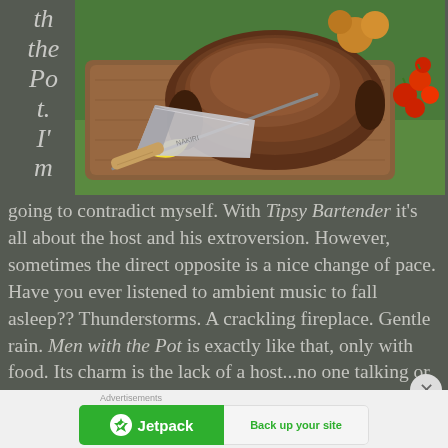th the Po t. I'm
[Figure (photo): A roasted meat/poultry dish on a wooden cutting board with a cleaver knife, cherry tomatoes, lemon wedge, and herbs in an outdoor setting]
going to contradict myself. With Tipsy Bartender it's all about the host and his extroversion. However, sometimes the direct opposite is a nice change of pace. Have you ever listened to ambient music to fall asleep?? Thunderstorms. A crackling fireplace. Gentle rain. Men with the Pot is exactly like that, only with food. Its charm is the lack of a host...no one talking or laughing or yelling or drawing attention to themselves. The food is the focus, and it's mesmerizing.
Advertisements
[Figure (screenshot): Jetpack advertisement banner: green left side with Jetpack logo and name, white right side with 'Back up your site' button text]